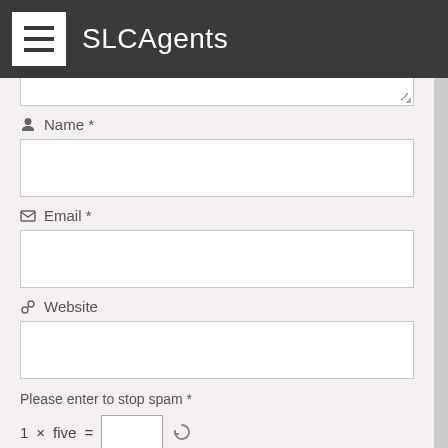SLCAgents
Name *
Email *
Website
Please enter to stop spam *
1 × five =
POST COMMENT